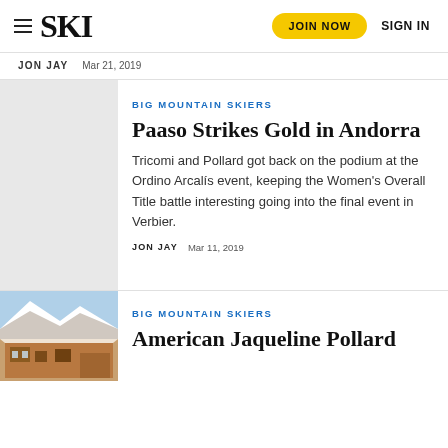SKI — JOIN NOW  SIGN IN
JON JAY   Mar 21, 2019
BIG MOUNTAIN SKIERS
Paaso Strikes Gold in Andorra
Tricomi and Pollard got back on the podium at the Ordino Arcalís event, keeping the Women's Overall Title battle interesting going into the final event in Verbier.
JON JAY   Mar 11, 2019
[Figure (photo): Grey placeholder thumbnail for article image]
BIG MOUNTAIN SKIERS
American Jaqueline Pollard
[Figure (photo): Snowy mountain building exterior photo at bottom of page]